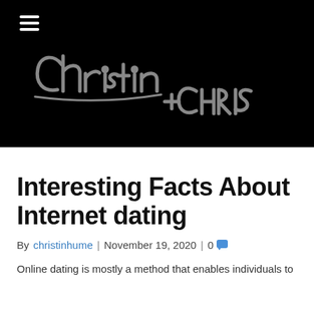[Figure (logo): Black banner header with hamburger menu icon and handwritten cursive logo reading 'Christin + CHRIS' in gray on black background]
Interesting Facts About Internet dating
By christinhume | November 19, 2020 | 0
Online dating is mostly a method that enables individuals to